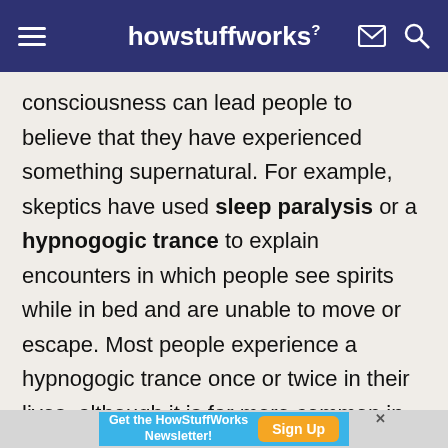howstuffworks
consciousness can lead people to believe that they have experienced something supernatural. For example, skeptics have used sleep paralysis or a hypnogic trance to explain encounters in which people see spirits while in bed and are unable to move or escape. Most people experience a hypnogogic trance once or twice in their lives, although it is far more common in people with epilepsy or certain sleep disorders.
Get the HowStuffWorks Newsletter! Sign Up